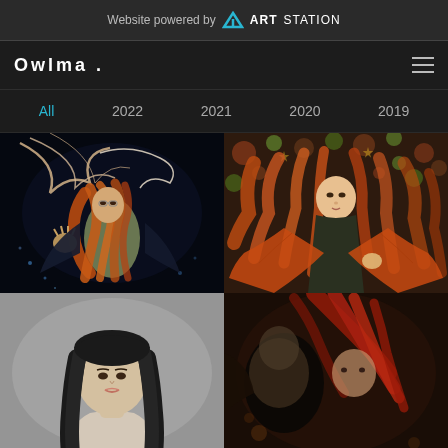Website powered by ARTSTATION
Owlma .
All
2022
2021
2020
2019
[Figure (illustration): Digital illustration of a red-haired woman with glasses in a dark fantasy underwater scene with tentacles and a black background]
[Figure (illustration): Digital illustration of a red-haired woman lying on a floral background wearing a dark outfit with an orange cape spread out]
[Figure (illustration): 3D rendered portrait of a woman with long black straight hair on a grey background]
[Figure (illustration): Dark digital painting of a red-haired figure with dynamic pose on a dark background]